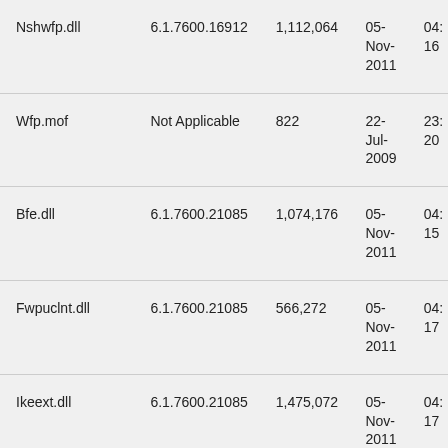| File name | File version | File size | Date | Time |
| --- | --- | --- | --- | --- |
| Nshwfp.dll | 6.1.7600.16912 | 1,112,064 | 05-Nov-2011 | 04:16 |
| Wfp.mof | Not Applicable | 822 | 22-Jul-2009 | 23:20 |
| Bfe.dll | 6.1.7600.21085 | 1,074,176 | 05-Nov-2011 | 04:15 |
| Fwpuclnt.dll | 6.1.7600.21085 | 566,272 | 05-Nov-2011 | 04:17 |
| Ikeext.dll | 6.1.7600.21085 | 1,475,072 | 05-Nov-2011 | 04:17 |